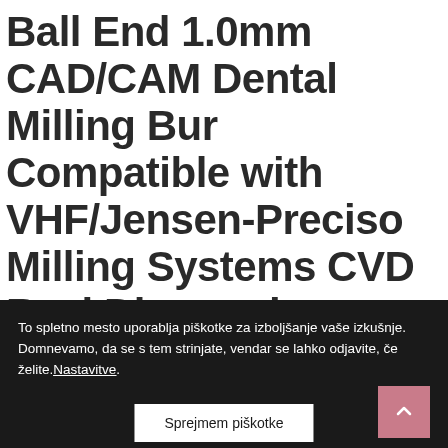Ball End 1.0mm CAD/CAM Dental Milling Bur Compatible with VHF/Jensen-Preciso Milling Systems CVD Real Diamond
To spletno mesto uporablja piškotke za izboljšanje vaše izkušnje. Domnevamo, da se s tem strinjate, vendar se lahko odjavite, če želite. Nastavitve.
Sprejmem piškotke